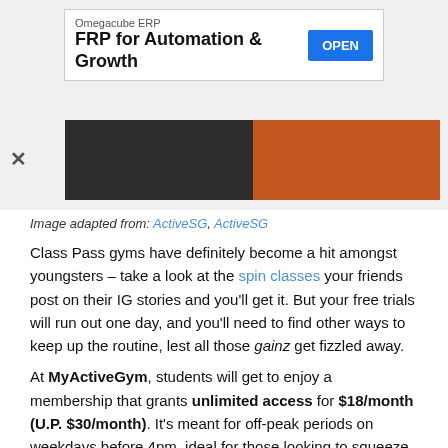[Figure (infographic): Advertisement banner for Omegacube ERP with 'FRP for Automation & Growth' headline and OPEN button]
[Figure (photo): Two cropped gym/fitness photos side by side: left shows dark gym equipment including a blue dumbbell, right shows a wooden surface (table or gym floor) in warm orange tones]
Image adapted from: ActiveSG, ActiveSG
Class Pass gyms have definitely become a hit amongst youngsters – take a look at the spin classes your friends post on their IG stories and you'll get it. But your free trials will run out one day, and you'll need to find other ways to keep up the routine, lest all those gainz get fizzled away.
At MyActiveGym, students will get to enjoy a membership that grants unlimited access for $18/month (U.P. $30/month). It's meant for off-peak periods on weekdays before 4pm, ideal for those looking to squeeze in a quick session before or after school.